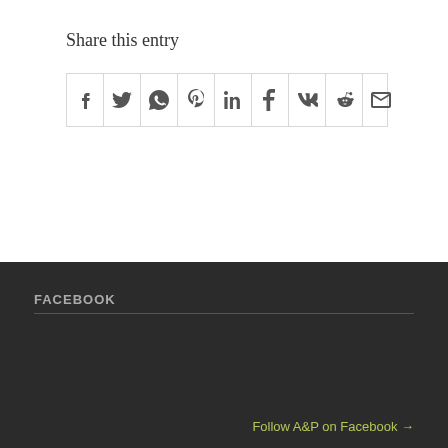Share this entry
[Figure (infographic): Row of social media share icons: Facebook (f), Twitter, WhatsApp, Pinterest (p), LinkedIn (in), Tumblr (t), VK (vk), Reddit, Email]
FACEBOOK
Follow A&P on Facebook →